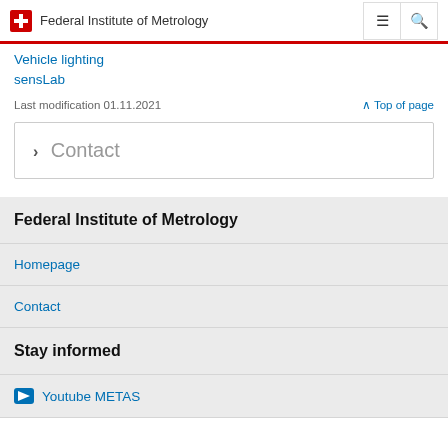Federal Institute of Metrology
Vehicle lighting
sensLab
Last modification 01.11.2021
^ Top of page
> Contact
Federal Institute of Metrology
Homepage
Contact
Stay informed
Youtube METAS